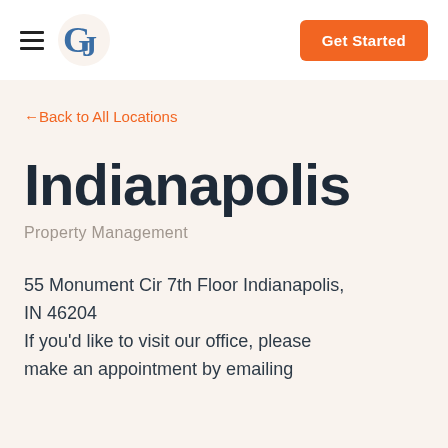GJ logo header with hamburger menu and Get Started button
←Back to All Locations
Indianapolis
Property Management
55 Monument Cir 7th Floor Indianapolis, IN 46204
If you'd like to visit our office, please make an appointment by emailing